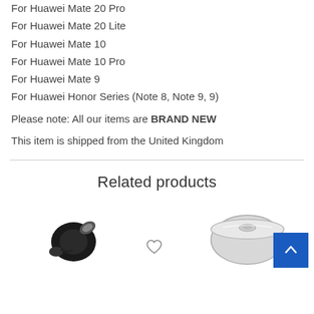For Huawei Mate 20 Pro
For Huawei Mate 20 Lite
For Huawei Mate 10
For Huawei Mate 10 Pro
For Huawei Mate 9
For Huawei Honor Series (Note 8, Note 9, 9)
Please note: All our items are BRAND NEW
This item is shipped from the United Kingdom
Related products
[Figure (photo): Black wireless earbuds/earphones product photo]
[Figure (photo): Round container/food storage product photo]